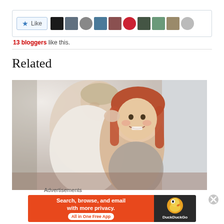[Figure (other): Like button with star icon and row of blogger avatar thumbnails]
13 bloggers like this.
Related
[Figure (photo): A woman kissing a smiling red-haired girl on the cheek, related content thumbnail]
Advertisements
[Figure (other): DuckDuckGo advertisement banner: Search, browse, and email with more privacy. All in One Free App]